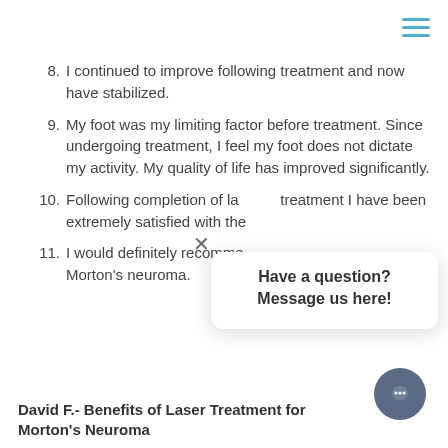8. I continued to improve following treatment and now have stabilized.
9. My foot was my limiting factor before treatment. Since undergoing treatment, I feel my foot does not dictate my activity. My quality of life has improved significantly.
10. Following completion of laser treatment I have been extremely satisfied with the results.
11. I would definitely recommend laser treatment for Morton’s neuroma.
David F.- Benefits of Laser Treatment for Morton’s Neuroma